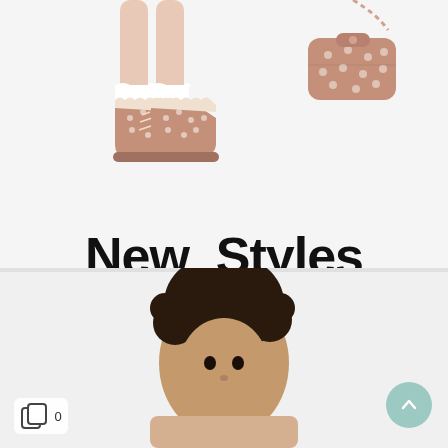[Figure (photo): Child's legs wearing pink/mauve polka-dot ankle boots with white fur trim and laces, on white background. Top right shows a pink handbag/clutch.]
New  Styles
SHOP NOW
[Figure (photo): Child with curly dark hair in the lower portion of the image, photographed from above on a light background.]
0